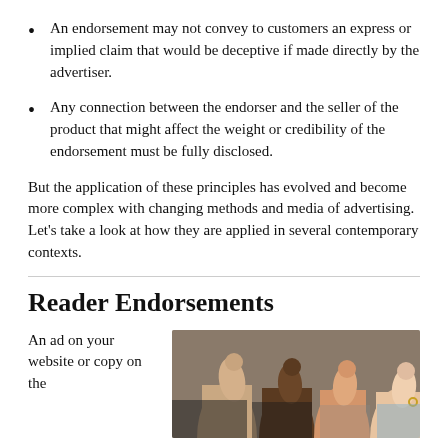An endorsement may not convey to customers an express or implied claim that would be deceptive if made directly by the advertiser.
Any connection between the endorser and the seller of the product that might affect the weight or credibility of the endorsement must be fully disclosed.
But the application of these principles has evolved and become more complex with changing methods and media of advertising. Let’s take a look at how they are applied in several contemporary contexts.
Reader Endorsements
An ad on your website or copy on the
[Figure (photo): Multiple hands giving thumbs up gestures, showing diverse skin tones, representing reader endorsements.]